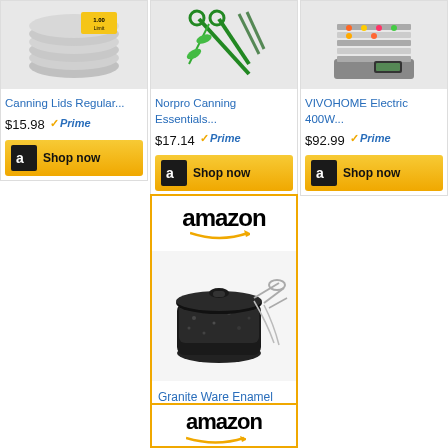[Figure (screenshot): Amazon product listing cards showing canning and kitchen products with prices and Shop now buttons. Top row: Canning Lids Regular... $15.98 Prime, Norpro Canning Essentials... $17.14 Prime, VIVOHOME Electric 400W... $92.99 Prime. Center card: Amazon branded card with Granite Ware Enamel on... $34.71. Bottom: Amazon branded card partially visible.]